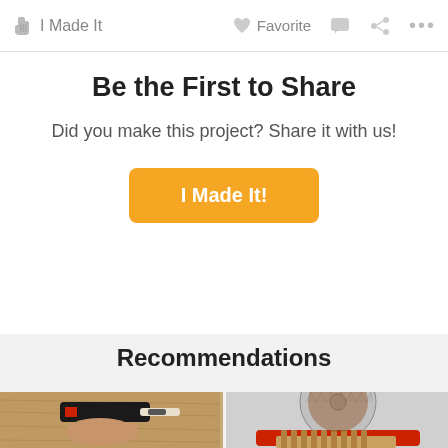I Made It   Favorite
Be the First to Share
Did you make this project? Share it with us!
I Made It!
Recommendations
[Figure (photo): A hand holding a glue gun against an OSB wood background]
[Figure (photo): A circular saw blade with a red tool and wooden comb below it]